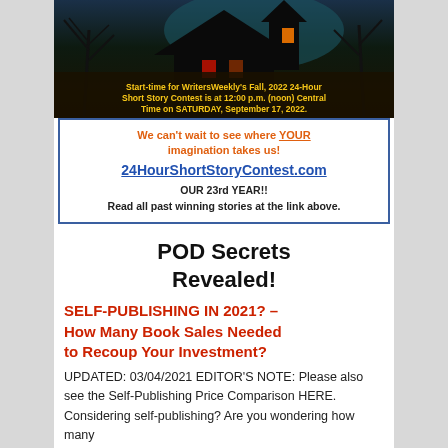[Figure (illustration): Dark haunted house scene at night with bare trees, glowing orange and red windows, teal/dark sky background]
Start-time for WritersWeekly's Fall, 2022 24-Hour Short Story Contest is at 12:00 p.m. (noon) Central Time on SATURDAY, September 17, 2022.
We can't wait to see where YOUR imagination takes us! 24HourShortStoryContest.com OUR 23rd YEAR!! Read all past winning stories at the link above.
POD Secrets Revealed!
SELF-PUBLISHING IN 2021? – How Many Book Sales Needed to Recoup Your Investment?
UPDATED: 03/04/2021 EDITOR'S NOTE: Please also see the Self-Publishing Price Comparison HERE. Considering self-publishing? Are you wondering how many